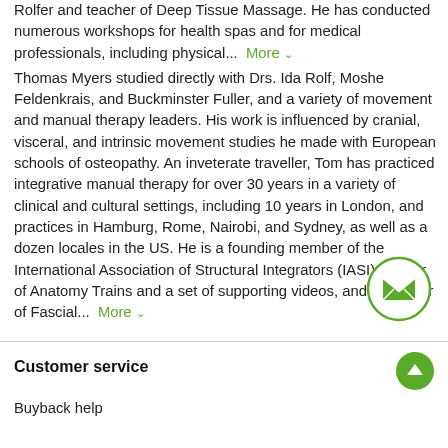Rolfer and teacher of Deep Tissue Massage. He has conducted numerous workshops for health spas and for medical professionals, including physical... More Thomas Myers studied directly with Drs. Ida Rolf, Moshe Feldenkrais, and Buckminster Fuller, and a variety of movement and manual therapy leaders. His work is influenced by cranial, visceral, and intrinsic movement studies he made with European schools of osteopathy. An inveterate traveller, Tom has practiced integrative manual therapy for over 30 years in a variety of clinical and cultural settings, including 10 years in London, and practices in Hamburg, Rome, Nairobi, and Sydney, as well as a dozen locales in the US. He is a founding member of the International Association of Structural Integrators (IASI). Author of Anatomy Trains and a set of supporting videos, and co-author of Fascial... More
[Figure (other): Green circular email/contact button with envelope icon]
Customer service
Buyback help